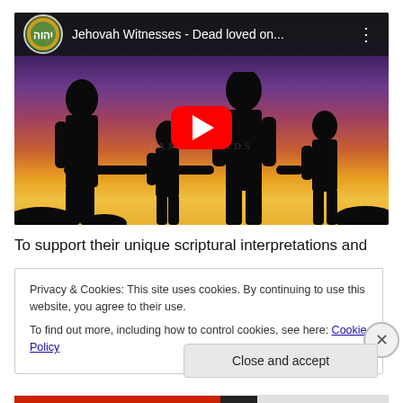[Figure (screenshot): YouTube video thumbnail showing silhouettes of a family (two adults and two children) holding hands against a sunset/twilight sky in purple, orange, and yellow tones. The video title bar at top reads 'Jehovah Witnesses - Dead loved on...' with a channel icon. A red YouTube play button is centered on the image.]
To support their unique scriptural interpretations and
Privacy & Cookies: This site uses cookies. By continuing to use this website, you agree to their use.
To find out more, including how to control cookies, see here: Cookie Policy
Close and accept